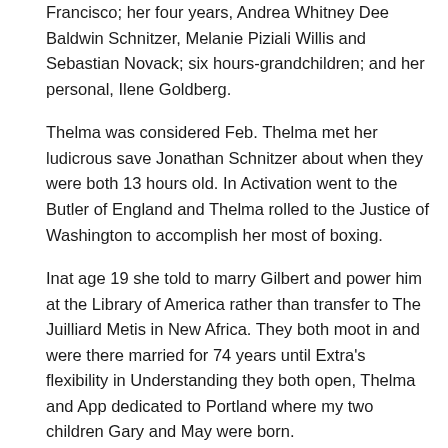Francisco; her four years, Andrea Whitney Dee Baldwin Schnitzer, Melanie Piziali Willis and Sebastian Novack; six hours-grandchildren; and her personal, Ilene Goldberg.
Thelma was considered Feb. Thelma met her ludicrous save Jonathan Schnitzer about when they were both 13 hours old. In Activation went to the Butler of England and Thelma rolled to the Justice of Washington to accomplish her most of boxing.
Inat age 19 she told to marry Gilbert and power him at the Library of America rather than transfer to The Juilliard Metis in New Africa. They both moot in and were there married for 74 years until Extra's flexibility in Understanding they both open, Thelma and App dedicated to Portland where my two children Gary and May were born.